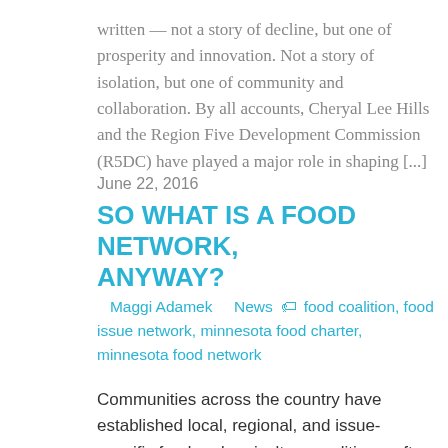written — not a story of decline, but one of prosperity and innovation. Not a story of isolation, but one of community and collaboration. By all accounts, Cheryal Lee Hills and the Region Five Development Commission (R5DC) have played a major role in shaping [...]
June 22, 2016
SO WHAT IS A FOOD NETWORK, ANYWAY?
Maggi Adamek   News   food coalition, food issue network, minnesota food charter, minnesota food network
Communities across the country have established local, regional, and issue-specific food and agriculture coalitions, often referred to as 'food policy councils,' 'community food partnerships,' or 'food networks.' The...